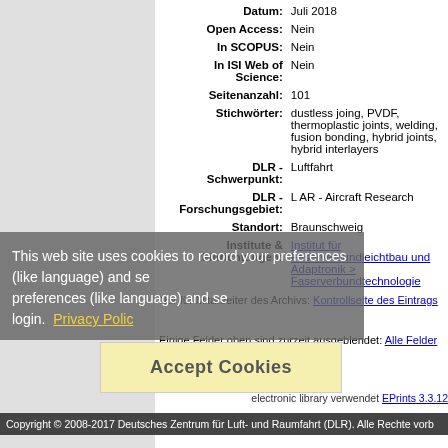| Datum: | Juli 2018 |
| Open Access: | Nein |
| In SCOPUS: | Nein |
| In ISI Web of Science: | Nein |
| Seitenanzahl: | 101 |
| Stichwörter: | dustless joing, PVDF, thermoplastic joints, welding, fusion bonding, hybrid joints, hybrid interlayers |
| DLR - Schwerpunkt: | Luftfahrt |
| DLR - Forschungsgebiet: | L AR - Aircraft Research |
| Standort: | Braunschweig |
| Institute & Einrichtungen: | Institut für Faserverbundleichtbau und Adaptronik > Faserverbundtechnologie |
Nur für Mitarbeiter des Archivs: Kontrollseite des Eintrags
Einige Felder oben sind zurzeit ausgeblendet: Alle Felder anzeigen
This web site uses cookies to record your preferences (like language) and session login. Privacy Policy
Accept Cookies
electronic library verwendet EPrints 3.3.12
Copyright © 2008-2017 Deutsches Zentrum für Luft- und Raumfahrt (DLR). Alle Rechte vorb